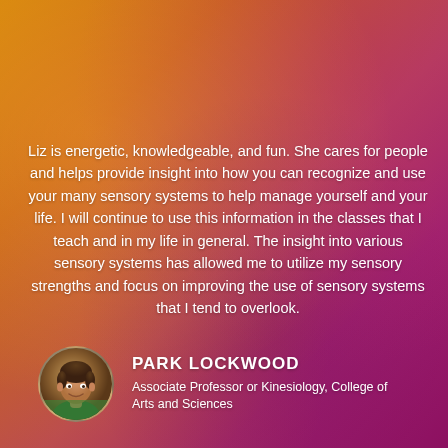Liz is energetic, knowledgeable, and fun. She cares for people and helps provide insight into how you can recognize and use your many sensory systems to help manage yourself and your life. I will continue to use this information in the classes that I teach and in my life in general. The insight into various sensory systems has allowed me to utilize my sensory strengths and focus on improving the use of sensory systems that I tend to overlook.
[Figure (photo): Circular headshot photo of Park Lockwood, a man smiling]
PARK LOCKWOOD
Associate Professor or Kinesiology, College of Arts and Sciences